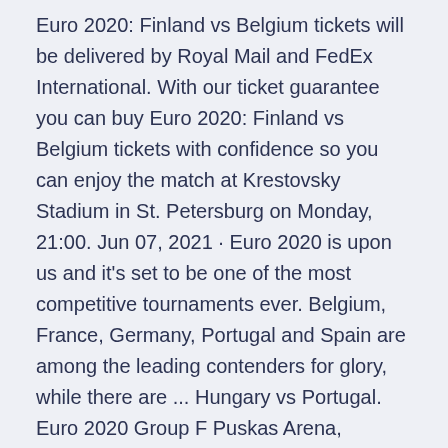Euro 2020: Finland vs Belgium tickets will be delivered by Royal Mail and FedEx International. With our ticket guarantee you can buy Euro 2020: Finland vs Belgium tickets with confidence so you can enjoy the match at Krestovsky Stadium in St. Petersburg on Monday, 21:00. Jun 07, 2021 · Euro 2020 is upon us and it's set to be one of the most competitive tournaments ever. Belgium, France, Germany, Portugal and Spain are among the leading contenders for glory, while there are ... Hungary vs Portugal. Euro 2020 Group F Puskas Arena, Budapest, Hungary.
We bring you all the Euro 2020 fixtures being held in 2021 including times and group details